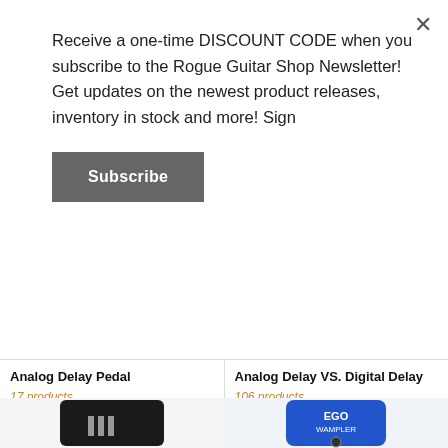Receive a one-time DISCOUNT CODE when you subscribe to the Rogue Guitar Shop Newsletter! Get updates on the newest product releases, inventory in stock and more! Sign
Subscribe
[Figure (screenshot): Close (X) button in top-right corner of modal]
Analog Delay Pedal
17 products
Analog Delay VS. Digital Delay
106 products
[Figure (photo): Black guitar pedal/amplifier device with silver stripes]
[Figure (photo): Blue Wampler EGO compressor guitar pedal]